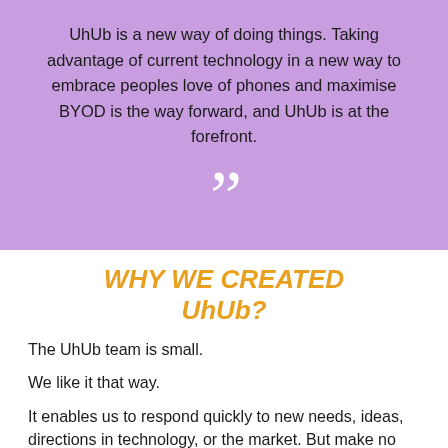UhUb is a new way of doing things. Taking advantage of current technology in a new way to embrace peoples love of phones and maximise BYOD is the way forward, and UhUb is at the forefront.
[Figure (illustration): Large closing double quotation mark in white on purple background]
WHY WE CREATED UhUb?
The UhUb team is small.
We like it that way.
It enables us to respond quickly to new needs, ideas, directions in technology, or the market. But make no mistake we are not only techies. Far from it!